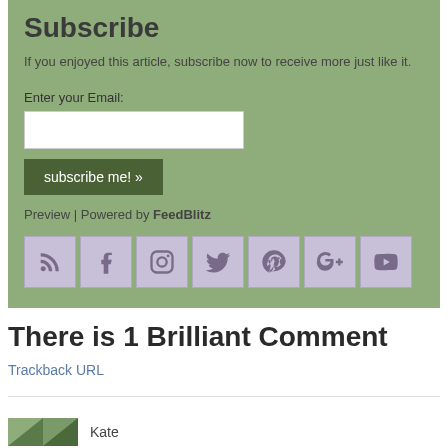Subscribe
If you enjoyed this article, subscribe now to receive more just like it.
Enter your Email:
subscribe me! »
Preview | Powered by FeedBlitz
[Figure (infographic): Row of 7 social media icon buttons: RSS, Facebook, Instagram, Twitter, Pinterest, Google+, YouTube]
There is 1 Brilliant Comment
Trackback URL
[Figure (photo): Partial comment avatar image at bottom left]
Kate